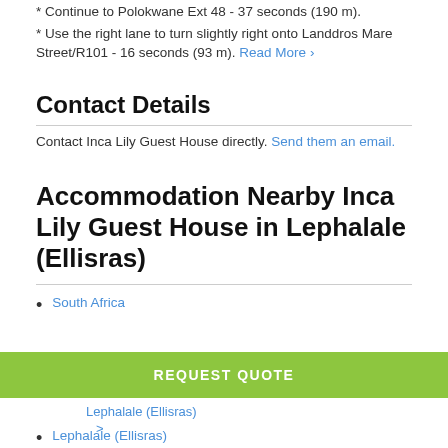* Continue to Polokwane Ext 48 - 37 seconds (190 m).
* Use the right lane to turn slightly right onto Landdros Mare Street/R101 - 16 seconds (93 m). Read More ›
Contact Details
Contact Inca Lily Guest House directly. Send them an email.
Accommodation Nearby Inca Lily Guest House in Lephalale (Ellisras)
South Africa
REQUEST QUOTE
>
Lephalale (Ellisras)